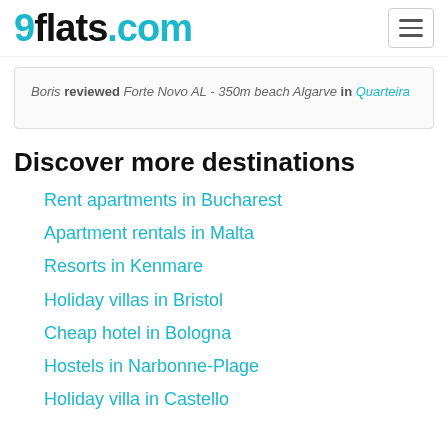9flats.com
Boris reviewed Forte Novo AL - 350m beach Algarve in Quarteira
Discover more destinations
Rent apartments in Bucharest
Apartment rentals in Malta
Resorts in Kenmare
Holiday villas in Bristol
Cheap hotel in Bologna
Hostels in Narbonne-Plage
Holiday villa in Castello